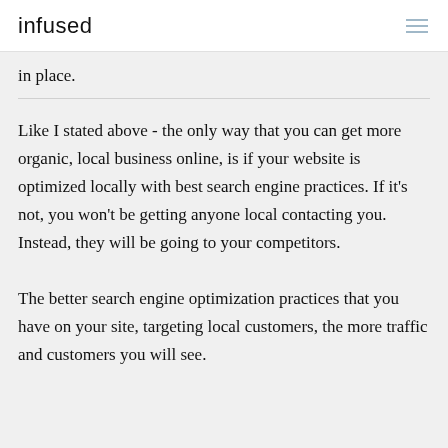infused
in place.
Like I stated above - the only way that you can get more organic, local business online, is if your website is optimized locally with best search engine practices. If it's not, you won't be getting anyone local contacting you. Instead, they will be going to your competitors.
The better search engine optimization practices that you have on your site, targeting local customers, the more traffic and customers you will see.